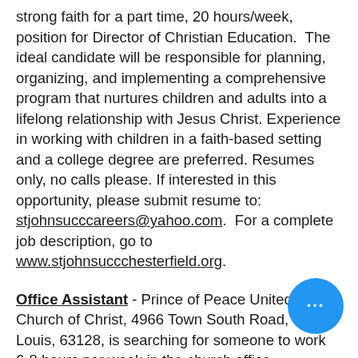strong faith for a part time, 20 hours/week, position for Director of Christian Education.  The ideal candidate will be responsible for planning, organizing, and implementing a comprehensive program that nurtures children and adults into a lifelong relationship with Jesus Christ. Experience in working with children in a faith-based setting and a college degree are preferred. Resumes only, no calls please. If interested in this opportunity, please submit resume to: stjohnsucccareers@yahoo.com.  For a complete job description, go to www.stjohnsuccchesterfield.org.
Office Assistant - Prince of Peace United Church of Christ, 4966 Town South Road, St. Louis, 63128, is searching for someone to work 6-8 hours per week in the church office...